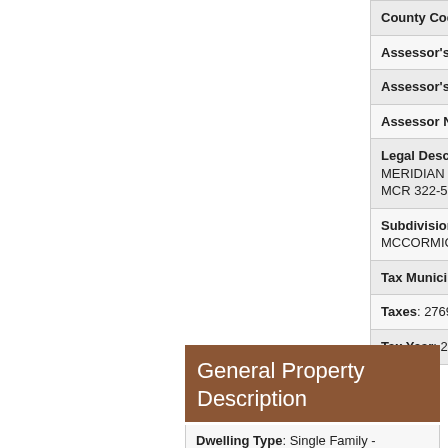| County Code: Maricopa |
| Assessor's Map #: 25 |
| Assessor's Parcel #: 328 |
| Assessor Number: 174-25-328 |
| Legal Description (Abbrev): MERIDIAN ON MCCORMICK RANCH MCR 322-5 |
| Subdivision: MERIDIAN ON MCCORMICK RANCH |
| Tax Municipality: Scottsdale |
| Taxes: 2769 |
| Tax Year: 2015 |
General Property Description
Dwelling Type: Single Family -